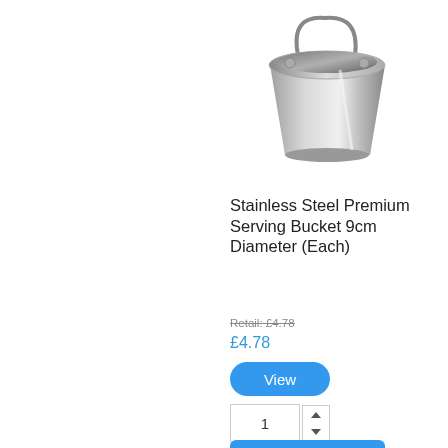[Figure (photo): Stainless steel premium serving bucket with handle, 9cm diameter, shown from a slight angle above.]
Stainless Steel Premium Serving Bucket 9cm Diameter (Each)
Retail: £4.78
£4.78
View
1
Add to Cart
Availability: In Stock